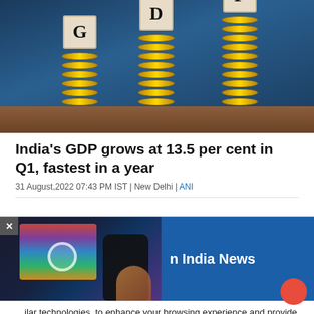[Figure (photo): Photo of stacked coins with wooden letter blocks spelling GDP placed on top of each stack, against a dark blue background]
India's GDP grows at 13.5 per cent in Q1, fastest in a year
31 August,2022 07:43 PM IST | New Delhi | ANI
[Figure (screenshot): A popup overlay showing a TV and remote control image on the left, a blue banner with 'n India News' text, and a cookie consent message at the bottom with OK button]
...ilar technologies, to enhance your browsing experience and provide personalised recommendations. By continuing to use our website, you agree to our Privacy Policy and Cookie Policy.